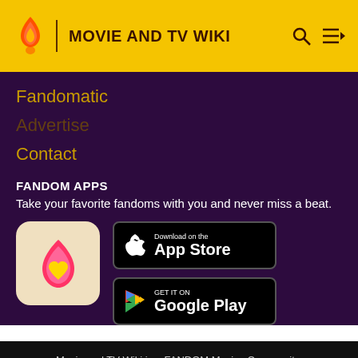MOVIE AND TV WIKI
Fandomatic
Contact
FANDOM APPS
Take your favorite fandoms with you and never miss a beat.
[Figure (logo): Fandom app icon with a pink/red flame and yellow heart on a beige background]
[Figure (screenshot): Download on the App Store button]
[Figure (screenshot): Get it on Google Play button]
Movie and TV Wiki is a FANDOM Movies Community.
VIEW FULL SITE